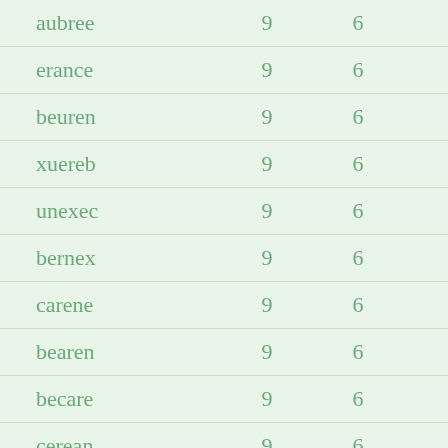| aubree | 9 | 6 |
| erance | 9 | 6 |
| beuren | 9 | 6 |
| xuereb | 9 | 6 |
| unexec | 9 | 6 |
| bernex | 9 | 6 |
| carene | 9 | 6 |
| bearen | 9 | 6 |
| becare | 9 | 6 |
| cerean | 9 | 6 |